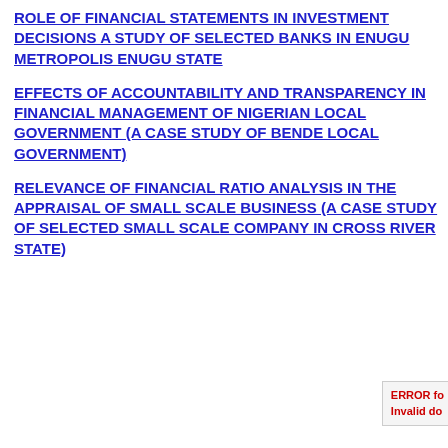ROLE OF FINANCIAL STATEMENTS IN INVESTMENT DECISIONS A STUDY OF SELECTED BANKS IN ENUGU METROPOLIS ENUGU STATE
EFFECTS OF ACCOUNTABILITY AND TRANSPARENCY IN FINANCIAL MANAGEMENT OF NIGERIAN LOCAL GOVERNMENT (A CASE STUDY OF BENDE LOCAL GOVERNMENT)
RELEVANCE OF FINANCIAL RATIO ANALYSIS IN THE APPRAISAL OF SMALL SCALE BUSINESS (A CASE STUDY OF SELECTED SMALL SCALE COMPANY IN CROSS RIVER STATE)